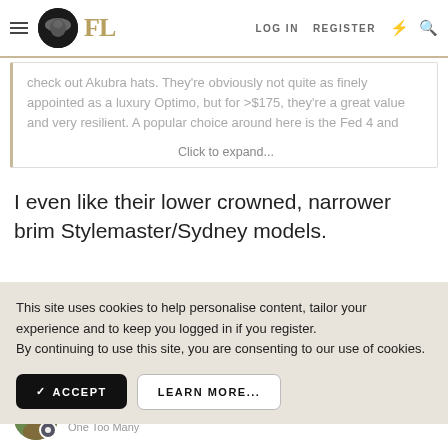FL | LOG IN | REGISTER
check out Akubra hats. They're obviously not quite as finely appointed as a luxury Optimo, but for >$175, they're a great value and very resilient. A popular choice around here is the Fed 4 and
Click to expand...
I even like their lower crowned, narrower brim Stylemaster/Sydney models.
This site uses cookies to help personalise content, tailor your experience and to keep you logged in if you register.
By continuing to use this site, you are consenting to our use of cookies.
✓ ACCEPT   LEARN MORE...
Polite
One Too Many